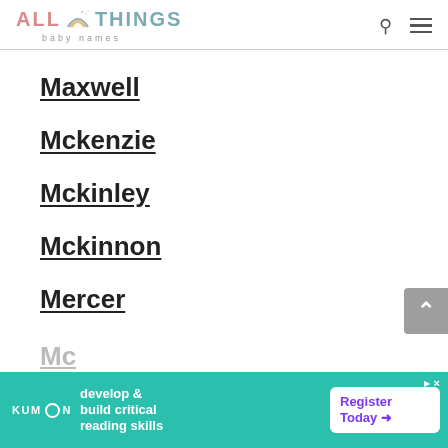[Figure (logo): All Things Baby Names logo with rainbow icon]
Maxwell
Mckenzie
Mckinley
Mckinnon
Mercer
Mc... (partial, cut off)
[Figure (other): Kumon advertisement banner: develop & build critical reading skills, Register Today arrow button]